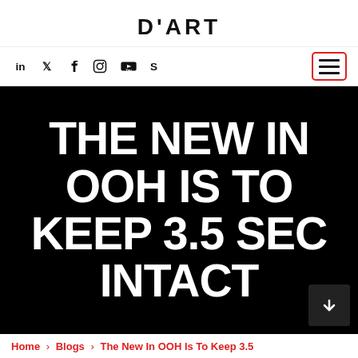D'ART
[Figure (screenshot): Navigation bar with social media icons (LinkedIn, Twitter, Facebook, Instagram, YouTube, Skype) and a hamburger menu button with red border]
THE NEW IN OOH IS TO KEEP 3.5 SEC INTACT
Home › Blogs › The New In OOH Is To Keep 3.5